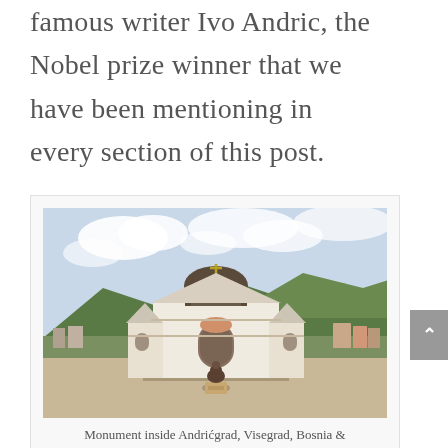famous writer Ivo Andric, the Nobel prize winner that we have been mentioning in every section of this post.
[Figure (photo): Photograph of a white Orthodox church with a dark dome and golden cross, with a bronze statue of a seated figure (Ivo Andric) in front on steps, surrounded by mountains and a town in the background, Andrićgrad, Visegrad, Bosnia.]
Monument inside Andrićgrad, Visegrad, Bosnia &